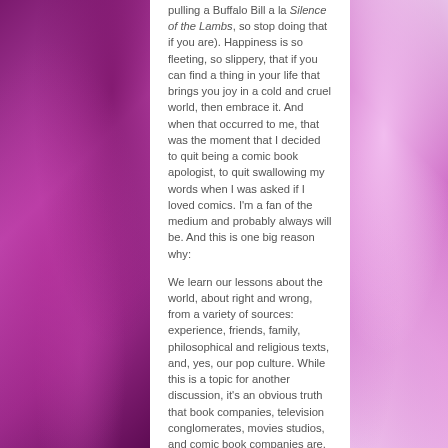pulling a Buffalo Bill a la Silence of the Lambs, so stop doing that if you are). Happiness is so fleeting, so slippery, that if you can find a thing in your life that brings you joy in a cold and cruel world, then embrace it. And when that occurred to me, that was the moment that I decided to quit being a comic book apologist, to quit swallowing my words when I was asked if I loved comics. I'm a fan of the medium and probably always will be. And this is one big reason why:
We learn our lessons about the world, about right and wrong, from a variety of sources: experience, friends, family, philosophical and religious texts, and, yes, our pop culture. While this is a topic for another discussion, it's an obvious truth that book companies, television conglomerates, movies studios, and comic book companies are, first and foremost, businesses designed to make money. They shape their products to get consumers to buy them. But that doesn't mean we can't learn from the books, movies, comics, and TV shows they produce.